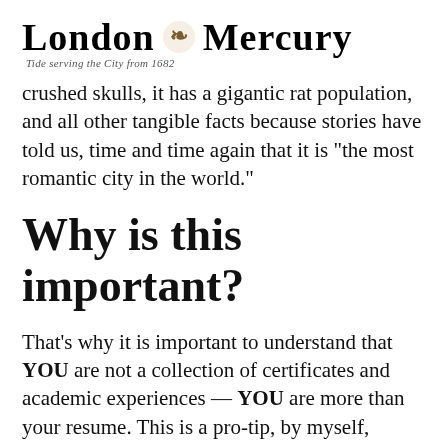London Mercury — Tide serving the City from 1682
crushed skulls, it has a gigantic rat population, and all other tangible facts because stories have told us, time and time again that it is "the most romantic city in the world."
Why is this important?
That's why it is important to understand that YOU are not a collection of certificates and academic experiences — YOU are more than your resume. This is a pro-tip, by myself, Dennis Loos. You are a story. One that elicits empathy, one that causes your client's oxytocin levels to rise. Every advisor, every salesman, every product maker is unique and every